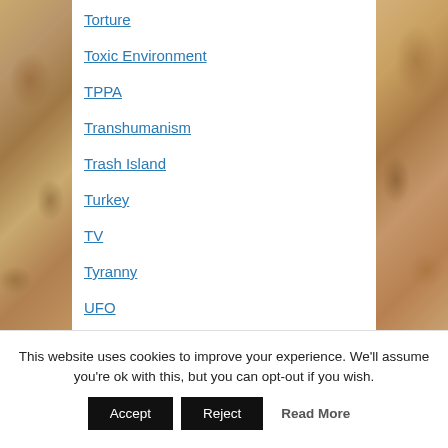Torture
Toxic Environment
TPPA
Transhumanism
Trash Island
Turkey
TV
Tyranny
UFO
UK
Ukraine
UN
This website uses cookies to improve your experience. We'll assume you're ok with this, but you can opt-out if you wish.
Accept | Reject | Read More